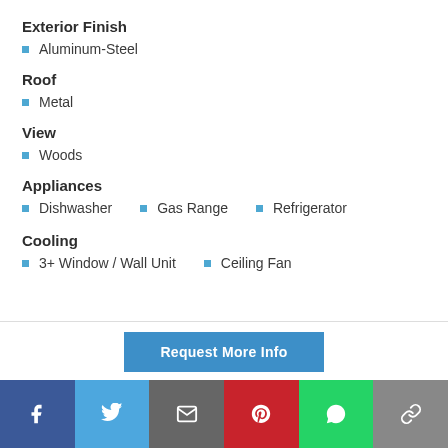Exterior Finish
Aluminum-Steel
Roof
Metal
View
Woods
Appliances
Dishwasher
Gas Range
Refrigerator
Cooling
3+ Window / Wall Unit
Ceiling Fan